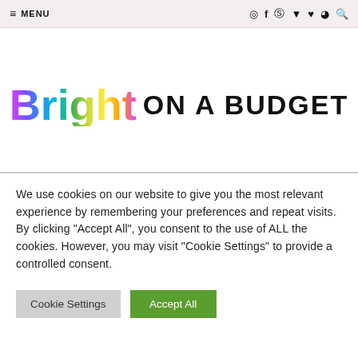≡ MENU
Bright ON A BUDGET
We use cookies on our website to give you the most relevant experience by remembering your preferences and repeat visits. By clicking "Accept All", you consent to the use of ALL the cookies. However, you may visit "Cookie Settings" to provide a controlled consent.
Cookie Settings | Accept All